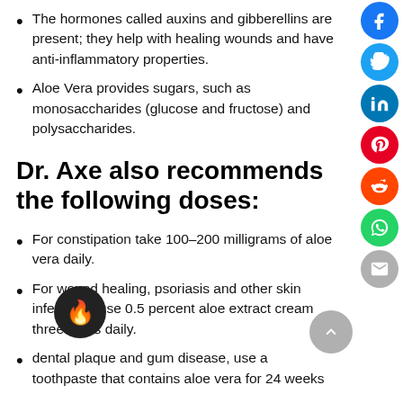The hormones called auxins and gibberellins are present; they help with healing wounds and have anti-inflammatory properties.
Aloe Vera provides sugars, such as monosaccharides (glucose and fructose) and polysaccharides.
Dr. Axe also recommends the following doses:
For constipation take 100–200 milligrams of aloe vera daily.
For wound healing, psoriasis and other skin infections, use 0.5 percent aloe extract cream three times daily.
dental plaque and gum disease, use a toothpaste that contains aloe vera for 24 weeks